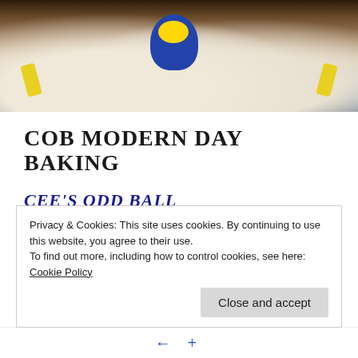[Figure (photo): Top photo showing a gift basket with stuffed toys, a blue stuffed animal with yellow details, white packing material, and yellow feathers on sides, against a dark wooden background.]
COB MODERN DAY BAKING
CEE'S ODD BALL PHOTOGRAPHY CHALLENGE
The  Baby Shower Cake
[Figure (photo): Partial photo showing a wooden surface or table top with wood grain texture in browns.]
Privacy & Cookies: This site uses cookies. By continuing to use this website, you agree to their use.
To find out more, including how to control cookies, see here: Cookie Policy
Close and accept